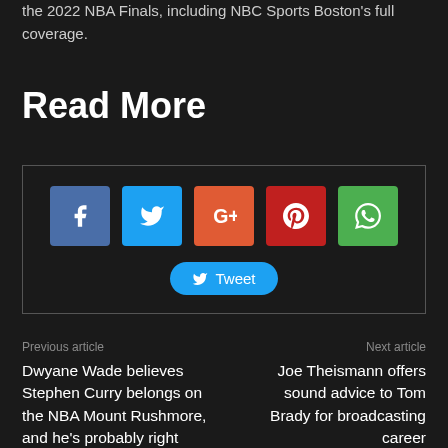the 2022 NBA Finals, including NBC Sports Boston's full coverage.
Read More
[Figure (infographic): Social share buttons: Facebook, Twitter, Google+, Pinterest, WhatsApp icons, and a Tweet button]
Previous article
Dwyane Wade believes Stephen Curry belongs on the NBA Mount Rushmore, and he's probably right
Next article
Joe Theismann offers sound advice to Tom Brady for broadcasting career